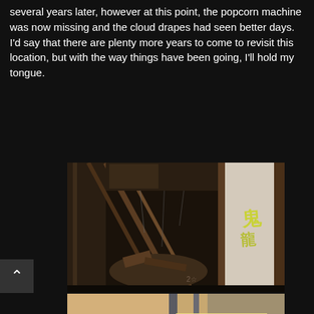several years later, however at this point, the popcorn machine was now missing and the cloud drapes had seen better days. I'd say that there are plenty more years to come to revisit this location, but with the way things have been going, I'll hold my tongue.
[Figure (photo): A fire-damaged or heavily deteriorated interior space photographed at an angle, showing charred debris, broken structural elements, exposed beams, and graffiti on a white wall to the right.]
[Figure (photo): A second photo showing the interior of an abandoned structure, with metal beams, glass or reflective surfaces, and decay visible from a low angle.]